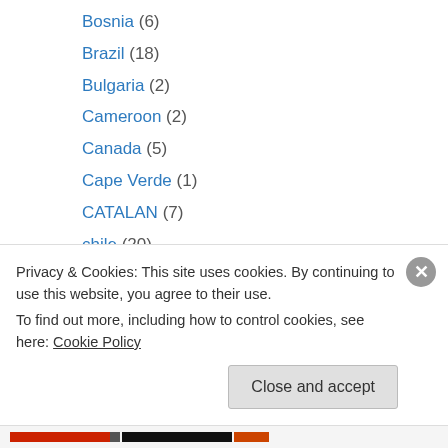Bosnia (6)
Brazil (18)
Bulgaria (2)
Cameroon (2)
Canada (5)
Cape Verde (1)
CATALAN (7)
chile (20)
China (8)
Columbia (16)
congo (5)
Costa Rica (1)
croatia (14)
Privacy & Cookies: This site uses cookies. By continuing to use this website, you agree to their use. To find out more, including how to control cookies, see here: Cookie Policy
Close and accept